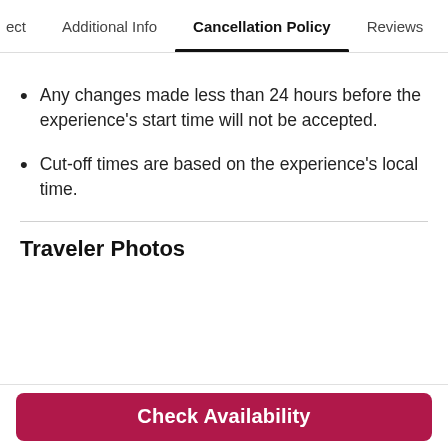ect   Additional Info   Cancellation Policy   Reviews
Any changes made less than 24 hours before the experience's start time will not be accepted.
Cut-off times are based on the experience's local time.
Traveler Photos
Check Availability